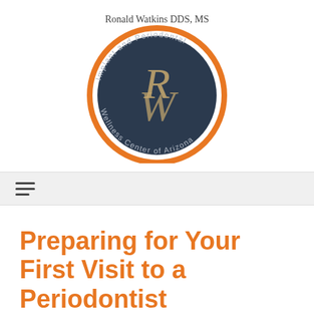[Figure (logo): Circular logo for Ronald Watkins DDS, MS — Implant and Periodontal Wellness Center of Arizona. Dark navy circle with orange border, stylized RW monogram in script, text arcing around the circle.]
Preparing for Your First Visit to a Periodontist
Posted on 4/26/2021 by Ronald Watkins
[Figure (photo): Partial view of a photo, beige/light background visible at bottom edge of page.]